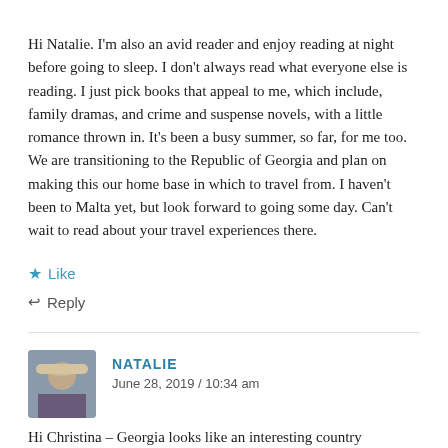Hi Natalie. I'm also an avid reader and enjoy reading at night before going to sleep. I don't always read what everyone else is reading. I just pick books that appeal to me, which include, family dramas, and crime and suspense novels, with a little romance thrown in. It's been a busy summer, so far, for me too. We are transitioning to the Republic of Georgia and plan on making this our home base in which to travel from. I haven't been to Malta yet, but look forward to going some day. Can't wait to read about your travel experiences there.
Like
Reply
NATALIE
June 28, 2019 / 10:34 am
Hi Christina – Georgia looks like an interesting country